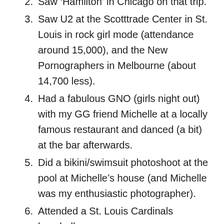2. Saw ‘Hamilton’ in Chicago on that trip.
3. Saw U2 at the Scotttrade Center in St. Louis in rock girl mode (attendance around 15,000), and the New Pornographers in Melbourne (about 14,700 less).
4. Had a fabulous GNO (girls night out) with my GG friend Michelle at a locally famous restaurant and danced (a bit) at the bar afterwards.
5. Did a bikini/swimsuit photoshoot at the pool at Michelle’s house (and Michelle was my enthusiastic photographer).
6. Attended a St. Louis Cardinals baseball game.
7. Gone grocery shopping and multiple Costco trips (and screwed up my courage to order